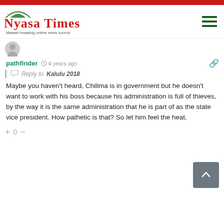[Figure (logo): Nyasa Times logo - Malawi breaking online news source]
pathfinder  4 years ago
Reply to Kalulu 2018
Maybe you haven't heard, Chilima is in government but he doesn't want to work with his boss because his administration is full of thieves, by the way it is the same administration that he is part of as the state vice president. How pathetic is that? So let him feel the heat.
+ 0 −